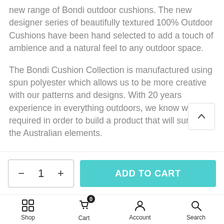new range of Bondi outdoor cushions. The new designer series of beautifully textured 100% Outdoor Cushions have been hand selected to add a touch of ambience and a natural feel to any outdoor space.
The Bondi Cushion Collection is manufactured using spun polyester which allows us to be more creative with our patterns and designs. With 20 years experience in everything outdoors, we know what is required in order to build a product that will survive in the Australian elements.
The collection has been SGS tested meaning each cu can withstand up to 800 hours of UV exposure and wi promote mildew growth if allowed to dry directly after